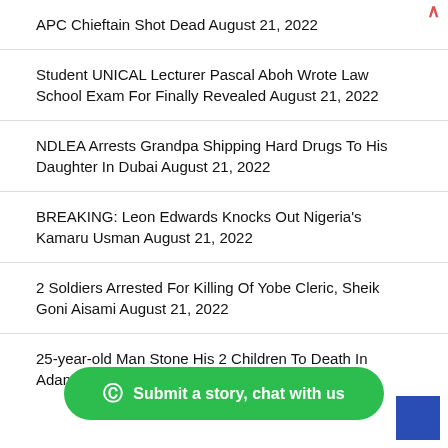APC Chieftain Shot Dead August 21, 2022
Student UNICAL Lecturer Pascal Aboh Wrote Law School Exam For Finally Revealed August 21, 2022
NDLEA Arrests Grandpa Shipping Hard Drugs To His Daughter In Dubai August 21, 2022
BREAKING: Leon Edwards Knocks Out Nigeria's Kamaru Usman August 21, 2022
2 Soldiers Arrested For Killing Of Yobe Cleric, Sheik Goni Aisami August 21, 2022
25-year-old Man Stone His 2 Children To Death In Adamawa Au…
Submit a story, chat with us